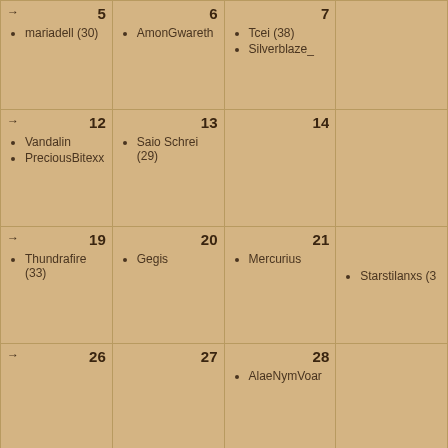| Col1 | Col2 | Col3 | Col4 |
| --- | --- | --- | --- |
| → 5
• mariadell (30) | 6
• AmonGwareth | 7
• Tcei (38)
• Silverblaze_ |  |
| → 12
• Vandalin
• PreciousBitexx | 13
• Saio Schrei (29) | 14 |  |
| → 19
• Thundrafire (33) | 20
• Gegis | 21
• Mercurius | • Starstilanxs (3…) |
| → 26 | 27 | 28
• AlaeNymVoar |  |
-- Istaria_style
All times are
Powere
Copyright © 2022 v…